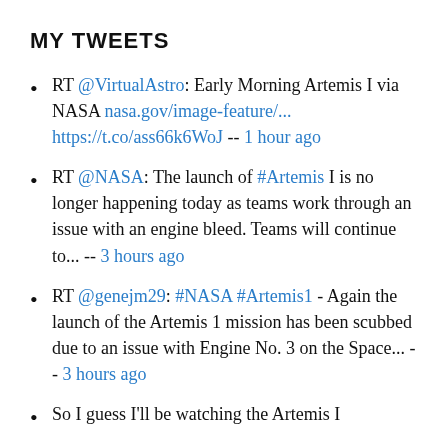MY TWEETS
RT @VirtualAstro: Early Morning Artemis I via NASA nasa.gov/image-feature/... https://t.co/ass66k6WoJ -- 1 hour ago
RT @NASA: The launch of #Artemis I is no longer happening today as teams work through an issue with an engine bleed. Teams will continue to... -- 3 hours ago
RT @genejm29: #NASA #Artemis1 - Again the launch of the Artemis 1 mission has been scubbed due to an issue with Engine No. 3 on the Space... -- 3 hours ago
So I guess I'll be watching the Artemis I